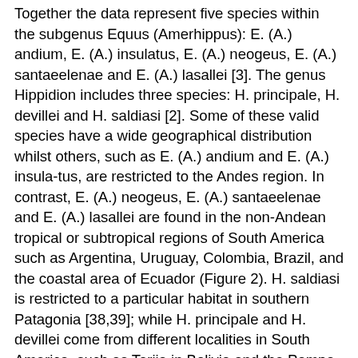Together the data represent five species within the subgenus Equus (Amerhippus): E. (A.) andium, E. (A.) insulatus, E. (A.) neogeus, E. (A.) santaeelenae and E. (A.) lasallei [3]. The genus Hippidion includes three species: H. principale, H. devillei and H. saldiasi [2]. Some of these valid species have a wide geographical distribution whilst others, such as E. (A.) andium and E. (A.) insula-tus, are restricted to the Andes region. In contrast, E. (A.) neogeus, E. (A.) santaeelenae and E. (A.) lasallei are found in the non-Andean tropical or subtropical regions of South America such as Argentina, Uruguay, Colombia, Brazil, and the coastal area of Ecuador (Figure 2). H. saldiasi is restricted to a particular habitat in southern Patagonia [38,39]; while H. principale and H. devillei come from different localities in South America, such as Tarija in Bolivia and the Pampa region in Argentina, that cover a broad range of altitudes from 10 to 4000 m. One restriction to our study is the chronological control of the sample. Most of the samples were collected from old museum collections in Ecuador, Bolivia and Argentina. These old collections were recovered without